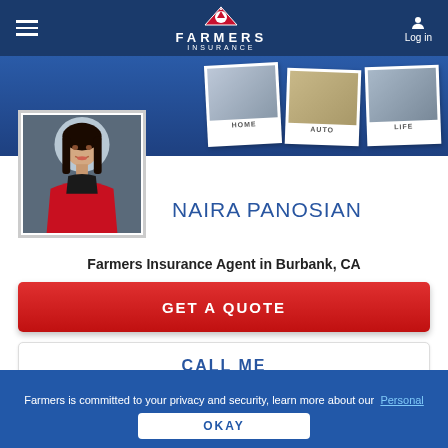Farmers Insurance - Log in
[Figure (screenshot): Farmers Insurance website header with logo, hamburger menu, and login button]
[Figure (photo): Agent profile photo of Naira Panosian wearing red jacket]
NAIRA PANOSIAN
Farmers Insurance Agent in Burbank, CA
GET A QUOTE
CALL ME
Farmers is committed to your privacy and security, learn more about our Personal Information Use
OKAY